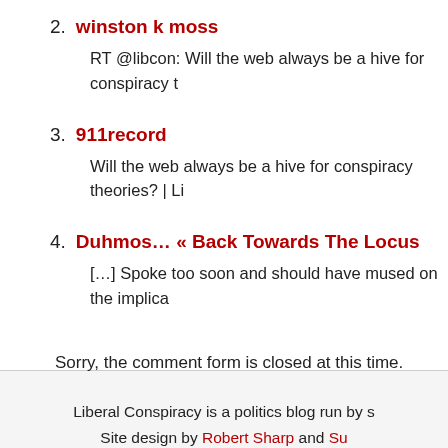2. winston k moss
RT @libcon: Will the web always be a hive for conspiracy t
3. 911record
Will the web always be a hive for conspiracy theories? | Li
4. Duhmos... « Back Towards The Locus
[…] Spoke too soon and should have mused on the implica
Sorry, the comment form is closed at this time.
Liberal Conspiracy is a politics blog run by s
Site design by Robert Sharp and Su